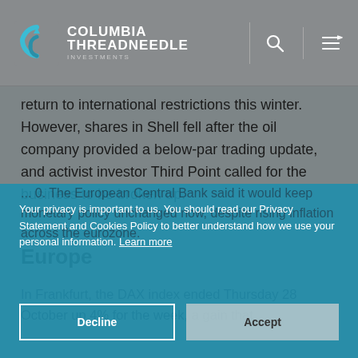[Figure (logo): Columbia Threadneedle Investments logo with teal circular arrow icon, search icon and hamburger menu in header]
return to international restrictions this winter. However, shares in Shell fell after the oil company provided a below-par trading update, and activist investor Third Point called for the business to be broken up.
Europe
In Frankfurt, the DAX index ended Thursday 28 October up 4% for the week, a gain that ... 0. The European Central Bank said it would keep monetary policy unchanged now, despite rising inflation across the eurozone.
Your privacy is important to us. You should read our Privacy Statement and Cookies Policy to better understand how we use your personal information. Learn more